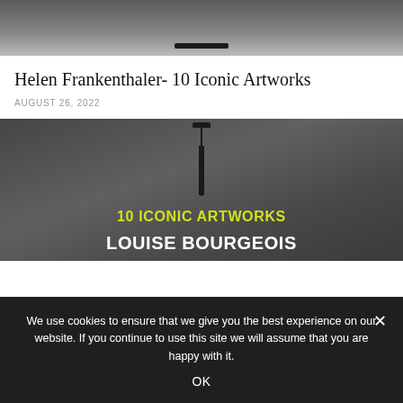[Figure (photo): Top portion of a photo showing a dark sculpture or art object against a grey background, with a horizontal bar visible at bottom.]
Helen Frankenthaler- 10 Iconic Artworks
AUGUST 26, 2022
[Figure (photo): Dark grey image showing a tall thin vertical sculpture with a crossbar at top. Yellow text reads '10 ICONIC ARTWORKS' and white bold text below reads 'LOUISE BOURGEOIS' (partially visible).]
We use cookies to ensure that we give you the best experience on our website. If you continue to use this site we will assume that you are happy with it.
OK